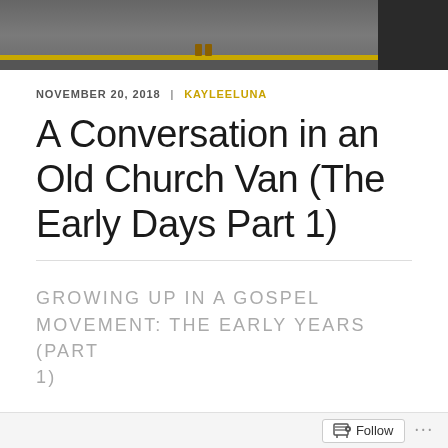[Figure (photo): Partial photo showing a parking lot or road with a yellow line, a person's feet/shoes visible, and a partial view of a dark car on the right side.]
NOVEMBER 20, 2018  |  KAYLEELUNA
A Conversation in an Old Church Van (The Early Days Part 1)
GROWING UP IN A GOSPEL MOVEMENT: THE EARLY YEARS (PART 1)
Follow